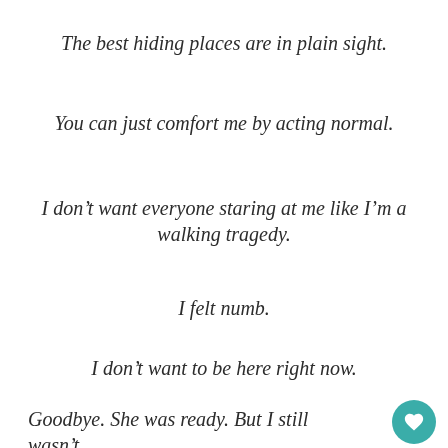The best hiding places are in plain sight.
You can just comfort me by acting normal.
I don’t want everyone staring at me like I’m a walking tragedy.
I felt numb.
I don’t want to be here right now.
Goodbye. She was ready. But I still wasn’t.
I don’t want to feel my grief. My grief feels horrible. Like my chest is going to explode